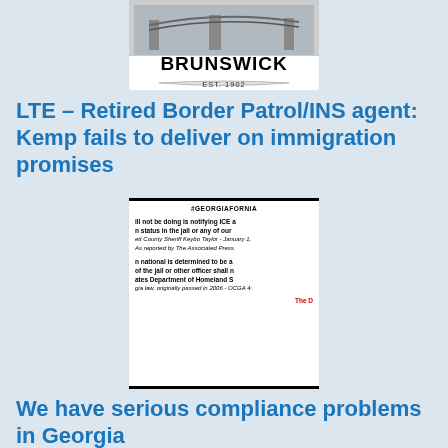[Figure (logo): Brunswick city logo with building image and text 'BRUNSWICK EST. 1902']
LTE – Retired Border Patrol/INS agent: Kemp fails to deliver on immigration promises
[Figure (screenshot): Screenshot of a document with hashtag #GEORGIAFORNIA and text about ICE notification, Sheriff Keybo Taylor quote, and OCGA law about Homeland Security]
We have serious compliance problems in Georgia
[Figure (photo): Partial image of what appears to be an interior room]